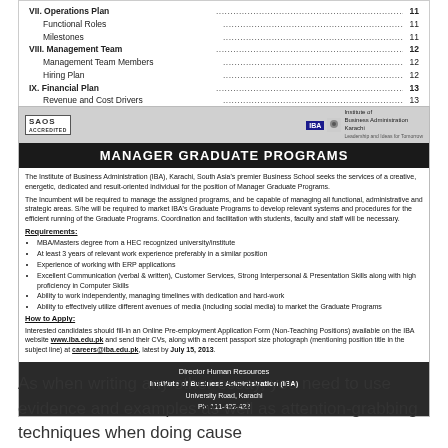VII. Operations Plan ...11
Functional Roles ...11
Milestones ...11
VIII. Management Team ...12
Management Team Members ...12
Hiring Plan ...12
IX. Financial Plan ...13
Revenue and Cost Drivers ...13
[Figure (other): Job advertisement for Manager Graduate Programs at Institute of Business Administration (IBA) Karachi. Includes requirements, how to apply, and contact information.]
As when writing any other essay, you need to use evidence and examples as well as attention-grabbing techniques when doing cause